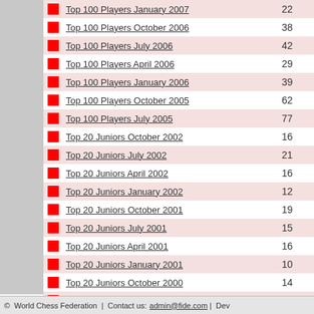|  | Title | Count |
| --- | --- | --- |
|  | Top 100 Players January 2007 | 22 |
|  | Top 100 Players October 2006 | 38 |
|  | Top 100 Players July 2006 | 42 |
|  | Top 100 Players April 2006 | 29 |
|  | Top 100 Players January 2006 | 39 |
|  | Top 100 Players October 2005 | 62 |
|  | Top 100 Players July 2005 | 77 |
|  | Top 20 Juniors October 2002 | 16 |
|  | Top 20 Juniors July 2002 | 21 |
|  | Top 20 Juniors April 2002 | 16 |
|  | Top 20 Juniors January 2002 | 12 |
|  | Top 20 Juniors October 2001 | 19 |
|  | Top 20 Juniors July 2001 | 15 |
|  | Top 20 Juniors April 2001 | 16 |
|  | Top 20 Juniors January 2001 | 10 |
|  | Top 20 Juniors October 2000 | 14 |
|  | Top 20 Juniors July 2000 | 17 |
« go back
© World Chess Federation | Contact us: admin@fide.com | Dev